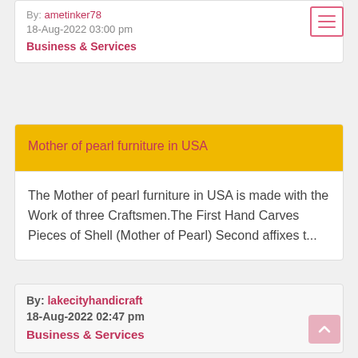By: ametinker78
18-Aug-2022 03:00 pm
Business & Services
Mother of pearl furniture in USA
The Mother of pearl furniture in USA is made with the Work of three Craftsmen.The First Hand Carves Pieces of Shell (Mother of Pearl) Second affixes t...
By: lakecityhandicraft
18-Aug-2022 02:47 pm
Business & Services